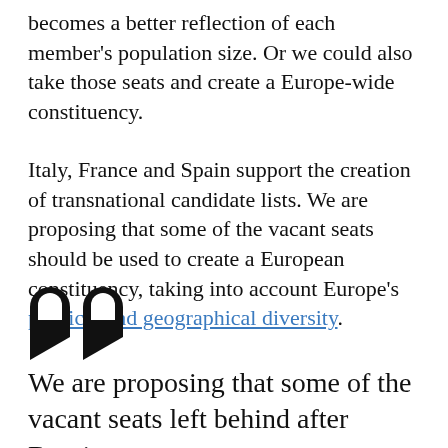becomes a better reflection of each member's population size. Or we could also take those seats and create a Europe-wide constituency.
Italy, France and Spain support the creation of transnational candidate lists. We are proposing that some of the vacant seats should be used to create a European constituency, taking into account Europe's political and geographical diversity.
[Figure (illustration): Large decorative opening quotation marks in black]
We are proposing that some of the vacant seats left behind after Brexit